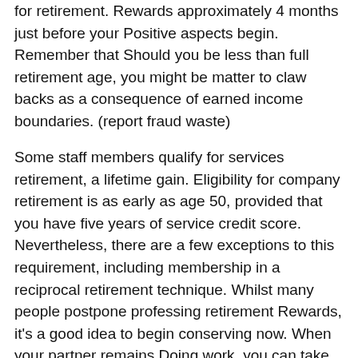for retirement. Rewards approximately 4 months just before your Positive aspects begin. Remember that Should you be less than full retirement age, you might be matter to claw backs as a consequence of earned income boundaries. (report fraud waste)
Some staff members qualify for services retirement, a lifetime gain. Eligibility for company retirement is as early as age 50, provided that you have five years of service credit score. Nevertheless, there are a few exceptions to this requirement, including membership in a reciprocal retirement technique. Whilst many people postpone professing retirement Rewards, it's a good idea to begin conserving now. When your partner remains Doing work, you can take their Rewards sooner.(shell out taxes)
The age at which you can start off receiving your pension will depend on the type of Retirement Profit you qualify for. The amount you receive will count on how much time you worked and simply how much you contributed. The Normal